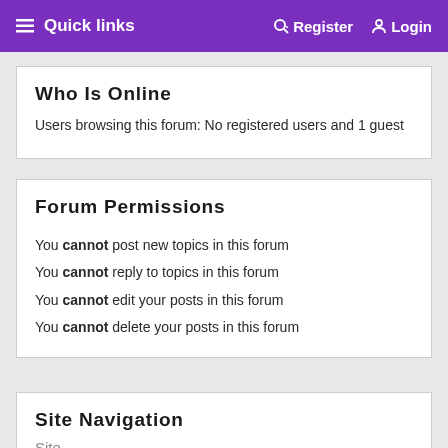Quick links  Register  Login
Who Is Online
Users browsing this forum: No registered users and 1 guest
Forum Permissions
You cannot post new topics in this forum
You cannot reply to topics in this forum
You cannot edit your posts in this forum
You cannot delete your posts in this forum
Site Navigation
Site